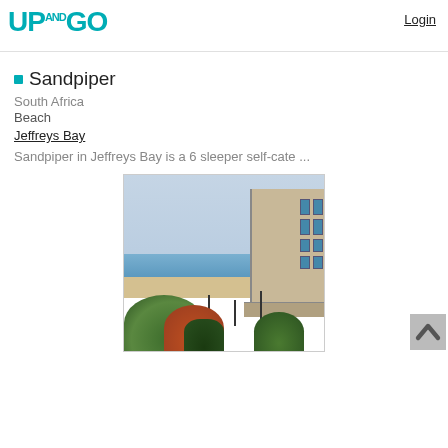UP AND GO
Login
Sandpiper
South Africa
Beach
Jeffreys Bay
Sandpiper in Jeffreys Bay is a 6 sleeper self-cate ...
[Figure (photo): Exterior photo of Sandpiper accommodation in Jeffreys Bay, South Africa, showing a multi-storey beachfront building with large windows, a wooden deck, tropical vegetation including palm trees and aloes in the foreground, and the ocean and sandy beach visible in the background under a cloudy sky.]